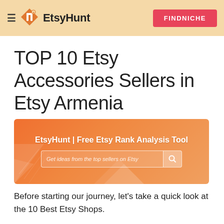EtsyHunt | FINDNICHE
TOP 10 Etsy Accessories Sellers in Etsy Armenia
[Figure (infographic): EtsyHunt banner with orange gradient background. Text reads 'EtsyHunt | Free Etsy Rank Analysis Tool' with a search bar below containing placeholder text 'Get ideas from the top sellers on Etsy' and a search icon button.]
Before starting our journey, let's take a quick look at the 10 Best Etsy Shops.